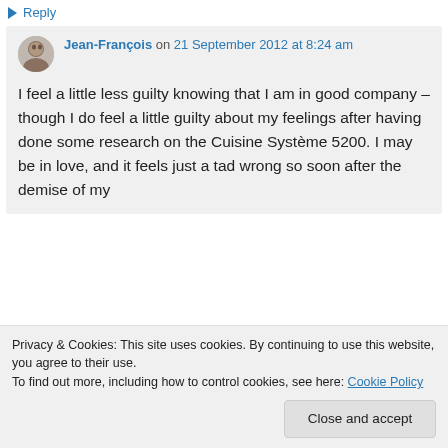Reply
Jean-François on 21 September 2012 at 8:24 am
I feel a little less guilty knowing that I am in good company – though I do feel a little guilty about my feelings after having done some research on the Cuisine Système 5200. I may be in love, and it feels just a tad wrong so soon after the demise of my
Privacy & Cookies: This site uses cookies. By continuing to use this website, you agree to their use.
To find out more, including how to control cookies, see here: Cookie Policy
Close and accept